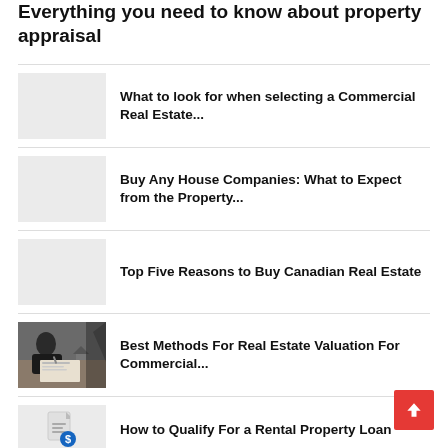Everything you need to know about property appraisal
What to look for when selecting a Commercial Real Estate...
Buy Any House Companies: What to Expect from the Property...
Top Five Reasons to Buy Canadian Real Estate
Best Methods For Real Estate Valuation For Commercial...
How to Qualify For a Rental Property Loan